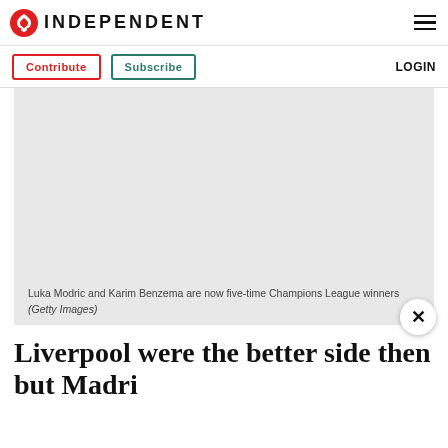INDEPENDENT
Contribute  Subscribe  LOGIN
[Figure (photo): Gray placeholder image area for a photo of Luka Modric and Karim Benzema]
Luka Modric and Karim Benzema are now five-time Champions League winners
(Getty Images)
Liverpool were the better side then but Madri